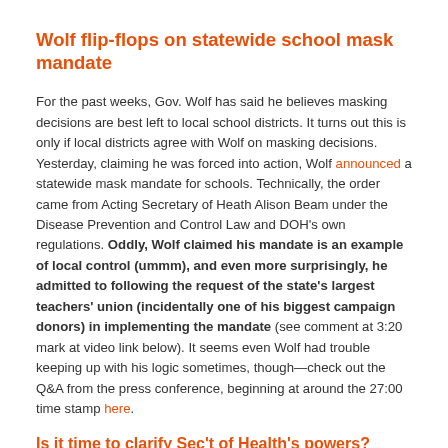Wolf flip-flops on statewide school mask mandate
For the past weeks, Gov. Wolf has said he believes masking decisions are best left to local school districts. It turns out this is only if local districts agree with Wolf on masking decisions. Yesterday, claiming he was forced into action, Wolf announced a statewide mask mandate for schools. Technically, the order came from Acting Secretary of Heath Alison Beam under the Disease Prevention and Control Law and DOH's own regulations. Oddly, Wolf claimed his mandate is an example of local control (ummm), and even more surprisingly, he admitted to following the request of the state's largest teachers' union (incidentally one of his biggest campaign donors) in implementing the mandate (see comment at 3:20 mark at video link below). It seems even Wolf had trouble keeping up with his logic sometimes, though—check out the Q&A from the press conference, beginning at around the 27:00 time stamp here.
Is it time to clarify Sec't of Health's powers?